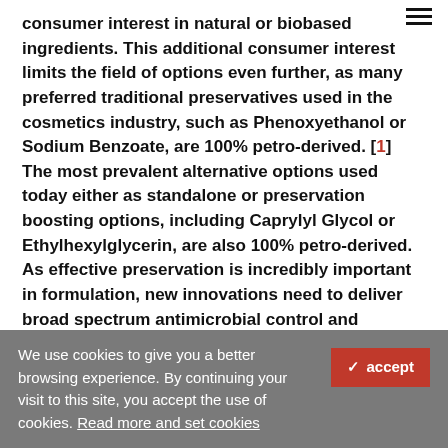consumer interest in natural or biobased ingredients. This additional consumer interest limits the field of options even further, as many preferred traditional preservatives used in the cosmetics industry, such as Phenoxyethanol or Sodium Benzoate, are 100% petro-derived. [1] The most prevalent alternative options used today either as standalone or preservation boosting options, including Caprylyl Glycol or Ethylhexylglycerin, are also 100% petro-derived. As effective preservation is incredibly important in formulation, new innovations need to deliver broad spectrum antimicrobial control and originate from natural sources to truly meet consumer expectations.
Preservative systems exist explicitly to maintain the safety of a formulation by keeping it free of microbial contamination...
We use cookies to give you a better browsing experience. By continuing your visit to this site, you accept the use of cookies. Read more and set cookies